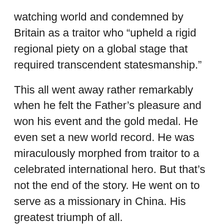watching world and condemned by Britain as a traitor who “upheld a rigid regional piety on a global stage that required transcendent statesmanship.”
This all went away rather remarkably when he felt the Father’s pleasure and won his event and the gold medal. He even set a new world record. He was miraculously morphed from traitor to a celebrated international hero. But that’s not the end of the story. He went on to serve as a missionary in China. His greatest triumph of all.
Liddell said, “. . . since I have been a young lad, I have had my eyes on a different prize. You see, each of us is in a greater race than any I have run in Paris, and this race ends when God gives out the medals” (christianity.org.uk).